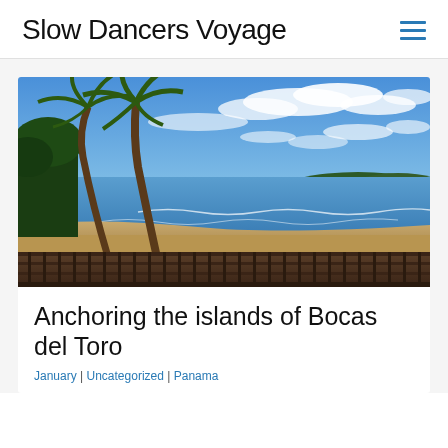Slow Dancers Voyage
[Figure (photo): Beach scene viewed from a wooden deck railing with two palm trees on the left, sandy beach, ocean waves, and a partly cloudy blue sky in the background. The coastline curves in the distance with green hills.]
Anchoring the islands of Bocas del Toro